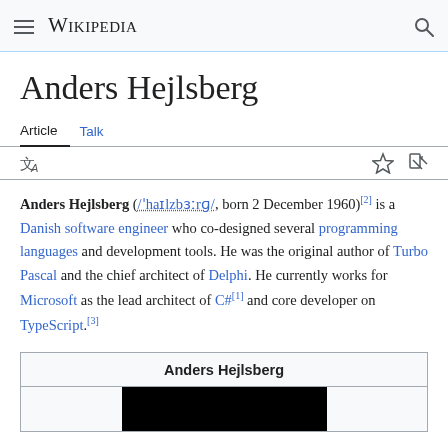Wikipedia
Anders Hejlsberg
Article   Talk
Anders Hejlsberg (/ˈhaɪlzbɜːrɡ/, born 2 December 1960)[2] is a Danish software engineer who co-designed several programming languages and development tools. He was the original author of Turbo Pascal and the chief architect of Delphi. He currently works for Microsoft as the lead architect of C#[1] and core developer on TypeScript.[3]
| Anders Hejlsberg |
[Figure (photo): Photo of Anders Hejlsberg (partially visible, black background)]